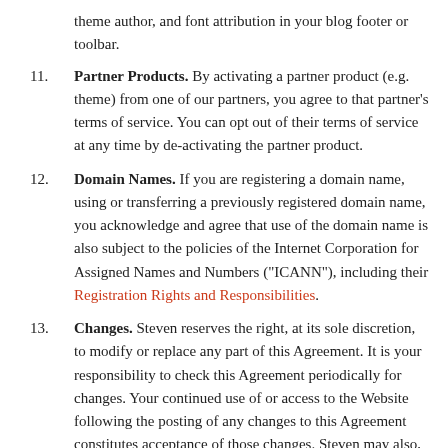(partial top) theme author, and font attribution in your blog footer or toolbar.
11. Partner Products. By activating a partner product (e.g. theme) from one of our partners, you agree to that partner's terms of service. You can opt out of their terms of service at any time by de-activating the partner product.
12. Domain Names. If you are registering a domain name, using or transferring a previously registered domain name, you acknowledge and agree that use of the domain name is also subject to the policies of the Internet Corporation for Assigned Names and Numbers ("ICANN"), including their Registration Rights and Responsibilities.
13. Changes. Steven reserves the right, at its sole discretion, to modify or replace any part of this Agreement. It is your responsibility to check this Agreement periodically for changes. Your continued use of or access to the Website following the posting of any changes to this Agreement constitutes acceptance of those changes. Steven may also, in the future, offer new services and/or features through the Website (including, the release of new tools and resources). Such new features and/or services shall be subject to the terms and conditions of this Agreement.